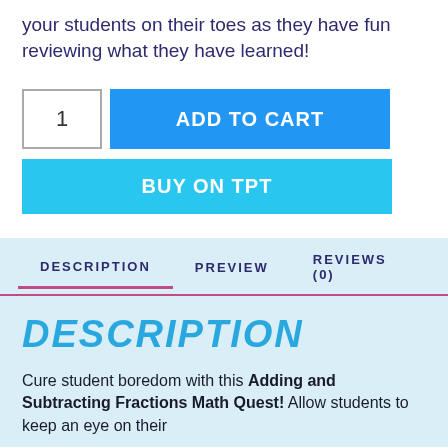your students on their toes as they have fun reviewing what they have learned!
1
ADD TO CART
BUY ON TPT
DESCRIPTION
PREVIEW
REVIEWS (0)
DESCRIPTION
Cure student boredom with this Adding and Subtracting Fractions Math Quest! Allow students to keep an eye on their...